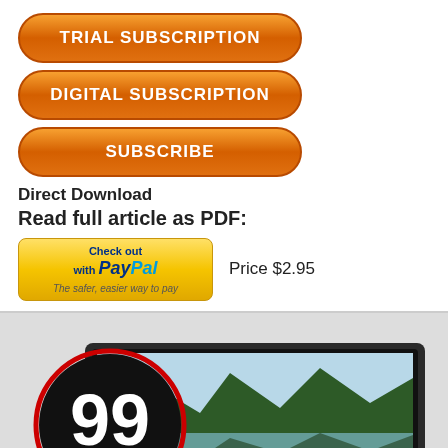TRIAL SUBSCRIPTION
DIGITAL SUBSCRIPTION
SUBSCRIBE
Direct Download
Read full article as PDF:
Check out with PayPal  The safer, easier way to pay  Price $2.95
[Figure (photo): Laptop computer displaying a scenic mountain lake wallpaper, with a circular black badge overlaid showing '99 Wh' battery capacity rating in white text on a red-bordered black circle.]